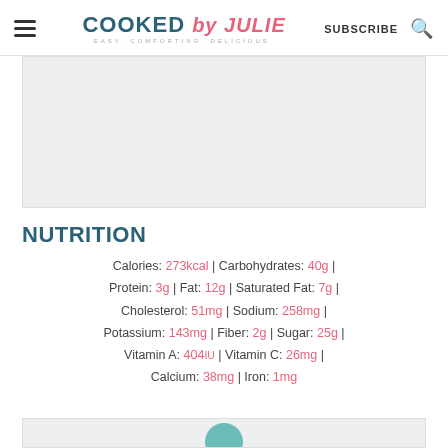COOKED by JULIE — EASY. COMFORTING. DELICIOUS. | SUBSCRIBE
[Figure (photo): Placeholder/blank image area (gray rectangle)]
NUTRITION
Calories: 273kcal | Carbohydrates: 40g | Protein: 3g | Fat: 12g | Saturated Fat: 7g | Cholesterol: 51mg | Sodium: 258mg | Potassium: 143mg | Fiber: 2g | Sugar: 25g | Vitamin A: 404IU | Vitamin C: 26mg | Calcium: 38mg | Iron: 1mg
[Figure (photo): Partial image visible at bottom of page (gray rectangle with partial teal icon)]